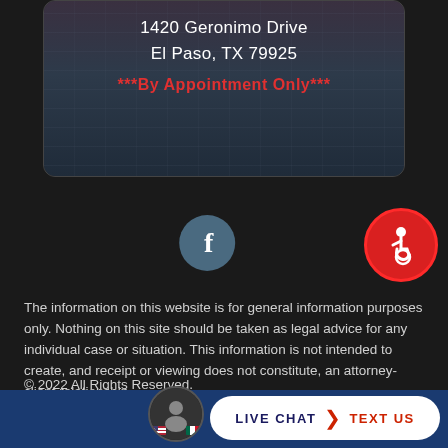[Figure (photo): Map card showing city skyline background with address overlay]
1420 Geronimo Drive
El Paso, TX 79925
***By Appointment Only***
[Figure (logo): Facebook social media button - circular teal/gray button with white letter f]
[Figure (logo): Accessibility icon - circular red button with wheelchair accessibility symbol]
The information on this website is for general information purposes only. Nothing on this site should be taken as legal advice for any individual case or situation. This information is not intended to create, and receipt or viewing does not constitute, an attorney-client relationship.
© 2022 All Rights Reserved.
Privacy Policy   Accessibility   Legal Disclaimer
[Figure (illustration): Mexican flag emoji/icon]
[Figure (photo): Agent profile photo in circular frame with US and Mexican flag icons]
LIVE CHAT  TEXT US